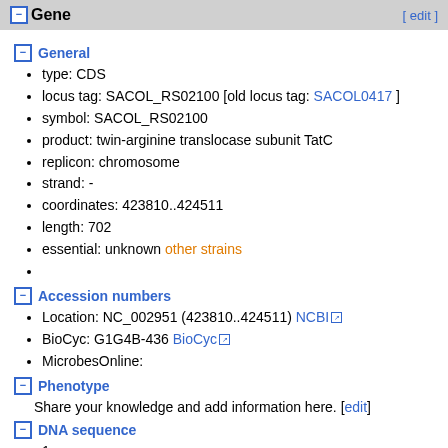Gene [ edit ]
General
type: CDS
locus tag: SACOL_RS02100 [old locus tag: SACOL0417 ]
symbol: SACOL_RS02100
product: twin-arginine translocase subunit TatC
replicon: chromosome
strand: -
coordinates: 423810..424511
length: 702
essential: unknown other strains
Accession numbers
Location: NC_002951 (423810..424511) NCBI
BioCyc: G1G4B-436 BioCyc
MicrobesOnline:
Phenotype
Share your knowledge and add information here. [edit]
DNA sequence
1